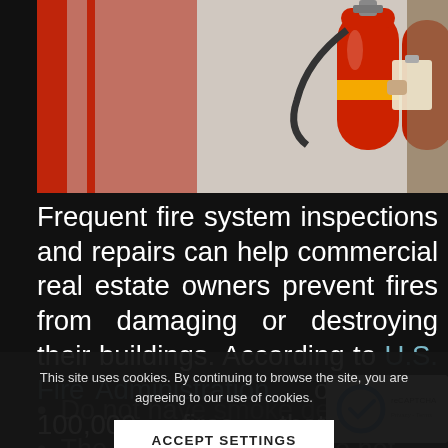[Figure (photo): Photo of red fire extinguishers mounted on a wall with a person holding a clipboard inspecting them]
Frequent fire system inspections and repairs can help commercial real estate owners prevent fires from damaging or destroying their buildings. According to U.S. Fire Administration, out of the 100,000 fires that occur annually, 52% of the larger fires in commercial properties
This site uses cookies. By continuing to browse the site, you are agreeing to our use of cookies.
ACCEPT SETTINGS
Do not ha[ve smoke detectors / similar]
The smoke detectors do not function